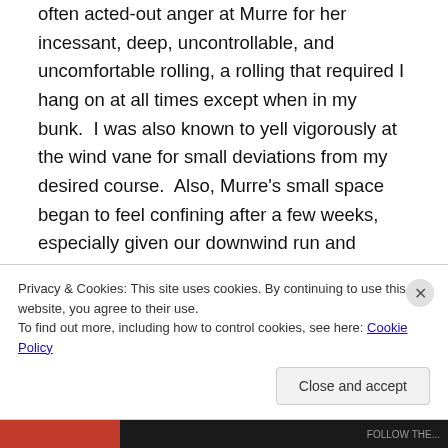often acted-out anger at Murre for her incessant, deep, uncontrollable, and uncomfortable rolling, a rolling that required I hang on at all times except when in my bunk.  I was also known to yell vigorously at the wind vane for small deviations from my desired course.  Also, Murre's small space began to feel confining after a few weeks, especially given our downwind run and closed ports, which allowed no ventilation below.  Daily radio and email contacts combined with the utter novelty of the passage meant I
Privacy & Cookies: This site uses cookies. By continuing to use this website, you agree to their use.
To find out more, including how to control cookies, see here: Cookie Policy